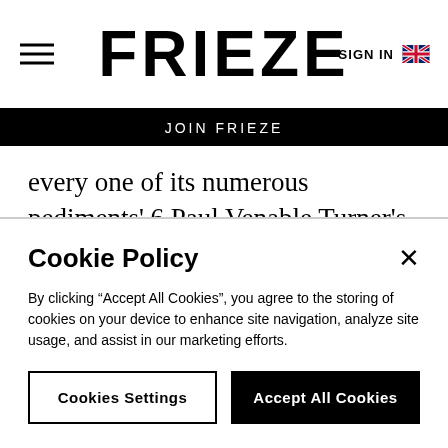FRIEZE
JOIN FRIEZE
every one of its numerous pediments'.6 Paul Venable Turner's The Education of Le Corbusier (1977) illustrates the same building as reproduced by Gropius in 1913 and as doctored by Corbusier in 1927. The same increasingly smudgy photographs of concrete
Cookie Policy
By clicking “Accept All Cookies”, you agree to the storing of cookies on your device to enhance site navigation, analyze site usage, and assist in our marketing efforts.
Cookies Settings  Accept All Cookies